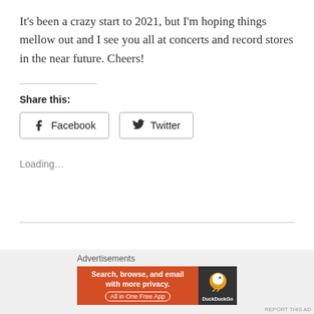It's been a crazy start to 2021, but I'm hoping things mellow out and I see you all at concerts and record stores in the near future. Cheers!
Share this:
Facebook  Twitter
Loading…
Advertisements
[Figure (screenshot): DuckDuckGo advertisement banner: orange left panel with text 'Search, browse, and email with more privacy. All in One Free App', dark right panel with DuckDuckGo duck logo and brand name.]